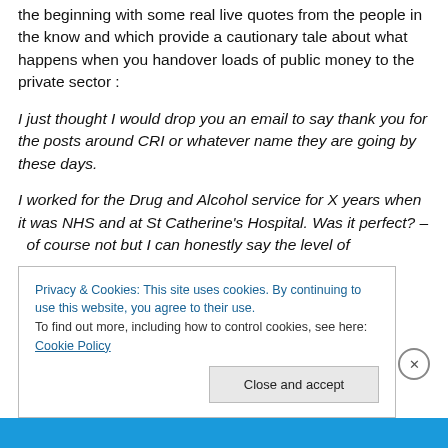the beginning with some real live quotes from the people in the know and which provide a cautionary tale about what happens when you handover loads of public money to the private sector :
I just thought I would drop you an email to say thank you for the posts around CRI or whatever name they are going by these days.
I worked for the Drug and Alcohol service for X years when it was NHS and at St Catherine's Hospital. Was it perfect? – of course not but I can honestly say the level of
Privacy & Cookies: This site uses cookies. By continuing to use this website, you agree to their use.
To find out more, including how to control cookies, see here: Cookie Policy